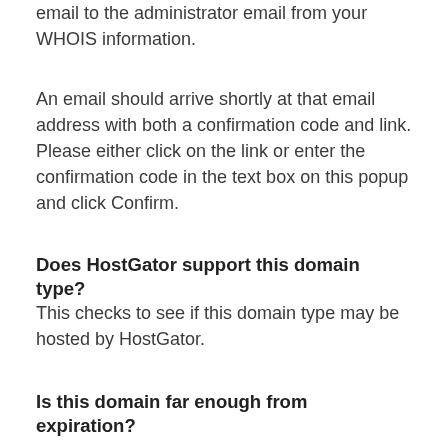email to the administrator email from your WHOIS information.
An email should arrive shortly at that email address with both a confirmation code and link. Please either click on the link or enter the confirmation code in the text box on this popup and click Confirm.
Does HostGator support this domain type?
This checks to see if this domain type may be hosted by HostGator.
Is this domain far enough from expiration?